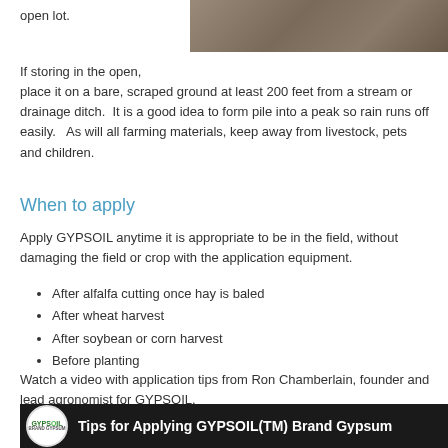open lot.
[Figure (photo): Photo of an open lot or pile of gypsum material on ground]
If storing in the open, place it on a bare, scraped ground at least 200 feet from a stream or drainage ditch.  It is a good idea to form pile into a peak so rain runs off easily.   As will all farming materials, keep away from livestock, pets and children.
When to apply
Apply GYPSOIL anytime it is appropriate to be in the field, without damaging the field or crop with the application equipment.
After alfalfa cutting once hay is baled
After wheat harvest
After soybean or corn harvest
Before planting
Watch a video with application tips from Ron Chamberlain, founder and lead agronomist for GYPSOIL.
[Figure (screenshot): Video thumbnail showing GYPSOIL logo and text: Tips for Applying GYPSOIL(TM) Brand Gypsum, with a person visible in background]